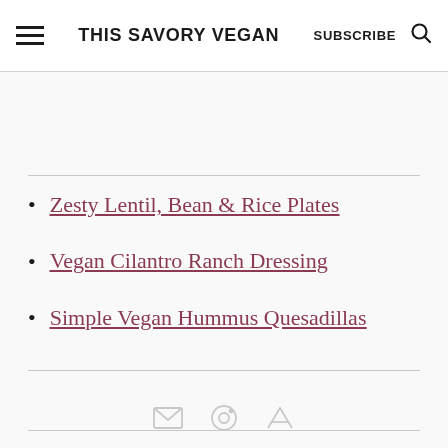THIS SAVORY VEGAN | SUBSCRIBE
Zesty Lentil, Bean & Rice Plates
Vegan Cilantro Ranch Dressing
Simple Vegan Hummus Quesadillas